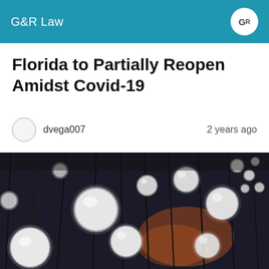G&R Law
Florida to Partially Reopen Amidst Covid-19
dvega007    2 years ago
[Figure (photo): Decorative photo of glowing white spherical pendant lights hanging from dark cables against a dark blurred background with warm orange accents in the background.]